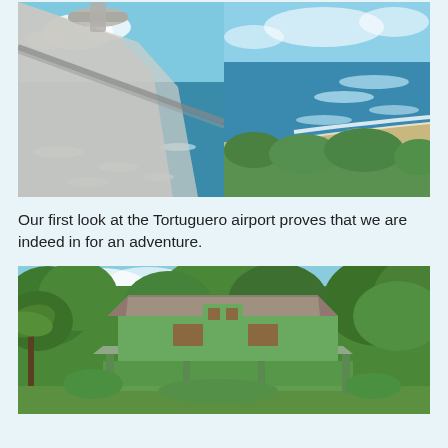[Figure (photo): Two aerial photos side by side. Left: View from inside a small plane looking out over turquoise ocean with whitecaps, airplane wing visible in foreground. Right: Aerial view of coastline with waves breaking on a dark sand beach, tropical vegetation visible.]
Our first look at the Tortuguero airport proves that we are indeed in for an adventure.
[Figure (photo): Photo of a small green two-story building surrounded by lush tropical trees and palm trees — the Tortuguero airport terminal building.]